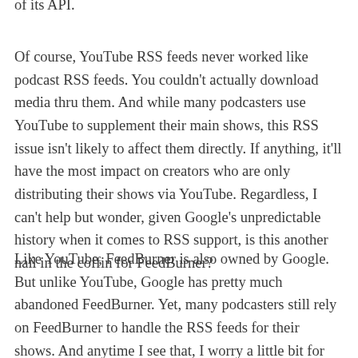of its API.
Of course, YouTube RSS feeds never worked like podcast RSS feeds. You couldn't actually download media thru them. And while many podcasters use YouTube to supplement their main shows, this RSS issue isn't likely to affect them directly. If anything, it'll have the most impact on creators who are only distributing their shows via YouTube. Regardless, I can't help but wonder, given Google's unpredictable history when it comes to RSS support, is this another nail in the coffin for FeedBurner?
Like YouTube, FeedBurner is also owned by Google. But unlike YouTube, Google has pretty much abandoned FeedBurner. Yet, many podcasters still rely on FeedBurner to handle the RSS feeds for their shows. And anytime I see that, I worry a little bit for those shows.